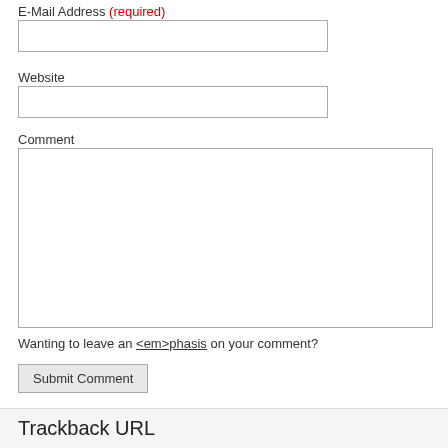E-Mail Address (required)
Website
Comment
Wanting to leave an <em>phasis on your comment?
Submit Comment
Trackback URL